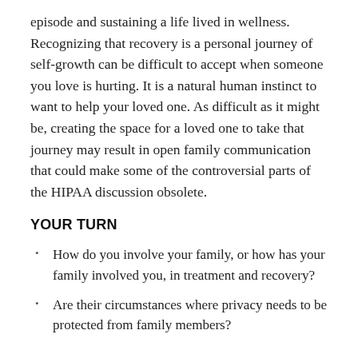episode and sustaining a life lived in wellness. Recognizing that recovery is a personal journey of self-growth can be difficult to accept when someone you love is hurting. It is a natural human instinct to want to help your loved one. As difficult as it might be, creating the space for a loved one to take that journey may result in open family communication that could make some of the controversial parts of the HIPAA discussion obsolete.
YOUR TURN
How do you involve your family, or how has your family involved you, in treatment and recovery?
Are their circumstances where privacy needs to be protected from family members?